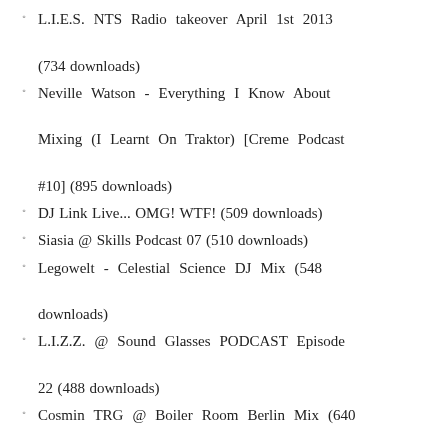L.I.E.S. NTS Radio takeover April 1st 2013 (734 downloads)
Neville Watson - Everything I Know About Mixing (I Learnt On Traktor) [Creme Podcast #10] (895 downloads)
DJ Link Live... OMG! WTF! (509 downloads)
Siasia @ Skills Podcast 07 (510 downloads)
Legowelt - Celestial Science DJ Mix (548 downloads)
L.I.Z.Z. @ Sound Glasses PODCAST Episode 22 (488 downloads)
Cosmin TRG @ Boiler Room Berlin Mix (640 downloads)
Tres Puntos @ Skills Podcast 05 (488 downloads)
ALCA @ Skills Podcast 04 (483 downloads)